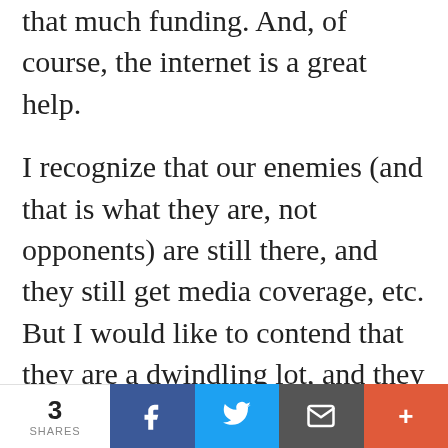that much funding.  And, of course, the internet is a great help.
I recognize that our enemies (and that is what they are, not opponents) are still there, and they still get media coverage, etc.  But I would like to contend that they are a dwindling lot, and they are not getting new recruits to their cause.  In fact, the new recruits are coming to the authentic Hindu thought
3 SHARES | Facebook | Twitter | Email | More